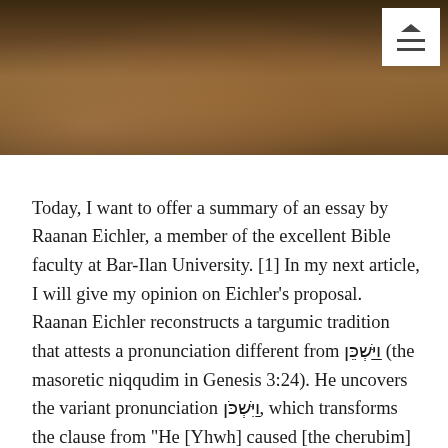[Figure (photo): A dark Renaissance-style painting showing figures with brown and amber tones, partially visible at the top of the page. A white menu/hamburger icon box is overlaid in the top right corner.]
Today, I want to offer a summary of an essay by Raanan Eichler, a member of the excellent Bible faculty at Bar-Ilan University. [1] In my next article, I will give my opinion on Eichler's proposal. Raanan Eichler reconstructs a targumic tradition that attests a pronunciation different from וַיַּשְׁכֵּן (the masoretic niqqudim in Genesis 3:24). He uncovers the variant pronunciation וַיִּשְׁכֹּן, which transforms the clause from "He [Yhwh] caused [the cherubim] to dwell" to "He dwelled." Eichler compares the reconstructed text with other ancient textual traditions. He then examines the grammatical legitimacy and literary coherence of the targumic reading. He concludes that … Continue reading →